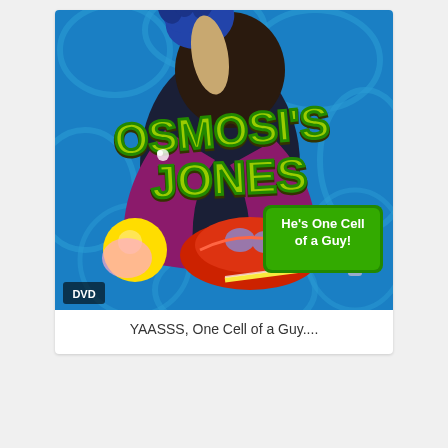[Figure (illustration): DVD cover for the animated film 'Osmosis Jones' featuring a cartoon white blood cell character in a blue cellular background with the tagline 'He's One Cell of a Guy!' and a DVD logo in the bottom-left corner.]
YAASSS, One Cell of a Guy....